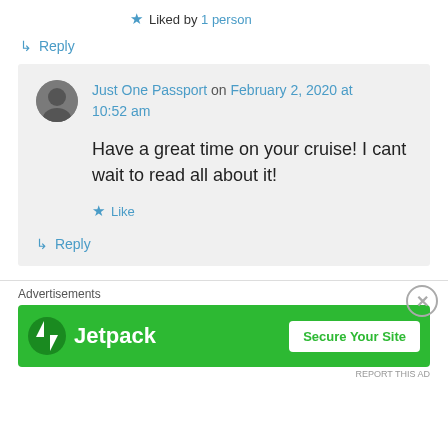★ Liked by 1 person
↳ Reply
Just One Passport on February 2, 2020 at 10:52 am
Have a great time on your cruise! I cant wait to read all about it!
★ Like
↳ Reply
Advertisements
[Figure (infographic): Jetpack advertisement banner with green background, Jetpack logo on left and 'Secure Your Site' button on right]